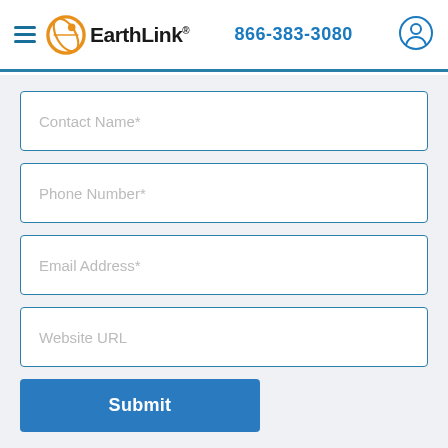EarthLink 866-383-3080
Contact Name*
Phone Number*
Email Address*
Website URL
Submit